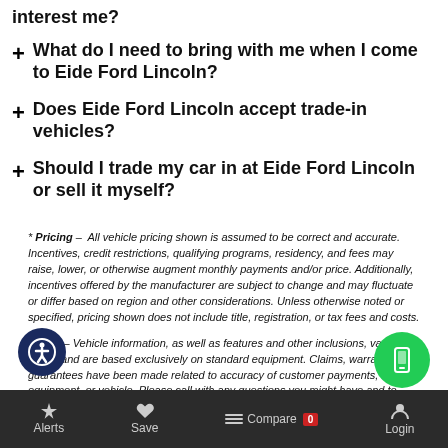interest me?
+ What do I need to bring with me when I come to Eide Ford Lincoln?
+ Does Eide Ford Lincoln accept trade-in vehicles?
+ Should I trade my car in at Eide Ford Lincoln or sell it myself?
* Pricing – All vehicle pricing shown is assumed to be correct and accurate. Incentives, credit restrictions, qualifying programs, residency, and fees may raise, lower, or otherwise augment monthly payments and/or price. Additionally, incentives offered by the manufacturer are subject to change and may fluctuate or differ based on region and other considerations. Unless otherwise noted or specified, pricing shown does not include title, registration, or tax fees and costs.
* MPG – Vehicle information, as well as features and other inclusions, vary by model and are based exclusively on standard equipment. Claims, warranties, or guarantees have been made related to accuracy of customer payments, model equipment, or vehicles. Please call with any questions you might have and to reassure...
Alerts   Save   Compare 0   Login